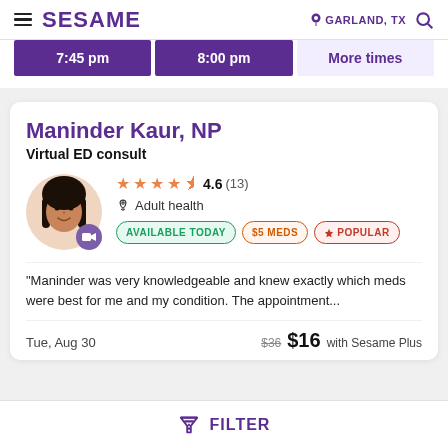SESAME | GARLAND, TX
7:45 pm   8:00 pm   More times
Maninder Kaur, NP
Virtual ED consult
4.6 (13)  Adult health  AVAILABLE TODAY  $5 MEDS  POPULAR
"Maninder was very knowledgeable and knew exactly which meds were best for me and my condition. The appointment...
Tue, Aug 30   $36  $16 with Sesame Plus
FILTER